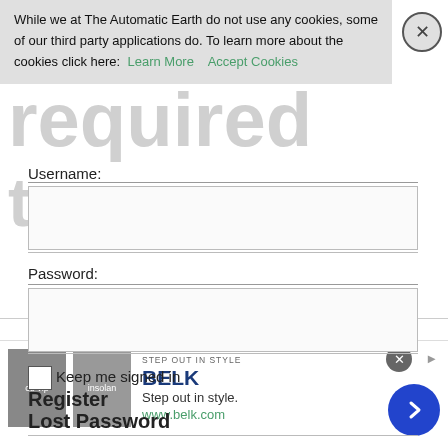While we at The Automatic Earth do not use any cookies, some of our third party applications do. To learn more about the cookies click here: Learn More   Accept Cookies
[Figure (screenshot): Background watermark text showing 'Login required to post']
Username:
Password:
Keep me signed in
Register
Lost Password
©2022 The Automatic Earth All Rights Reserved
[Figure (infographic): Advertisement banner for BELK: 'STEP OUT IN STYLE', 'Step out in style.', 'www.belk.com' with product images and blue circle arrow button]